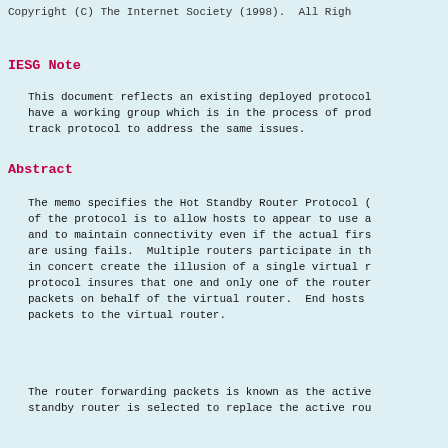Copyright (C) The Internet Society (1998).  All Righ
IESG Note
This document reflects an existing deployed protocol have a working group which is in the process of prod track protocol to address the same issues.
Abstract
The memo specifies the Hot Standby Router Protocol ( of the protocol is to allow hosts to appear to use a and to maintain connectivity even if the actual firs are using fails.  Multiple routers participate in th in concert create the illusion of a single virtual r protocol insures that one and only one of the router packets on behalf of the virtual router.  End hosts packets to the virtual router.
The router forwarding packets is known as the active standby router is selected to replace the active rou